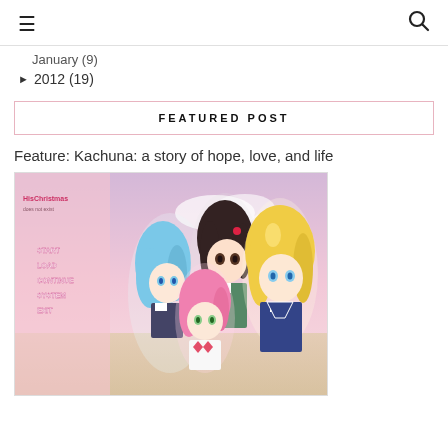≡  🔍
January (9)
► 2012 (19)
FEATURED POST
Feature: Kachuna: a story of hope, love, and life
[Figure (illustration): Anime visual novel screenshot showing four anime girl characters with a game menu (START, LOAD, CONTINUE, SYSTEM, EXIT) on the left side. Title logo reads 'HisChristmas does not exist' or similar. Characters include a blue-haired girl, dark-haired girl, pink-haired girl, and blonde girl in school uniforms against a pink sky background.]